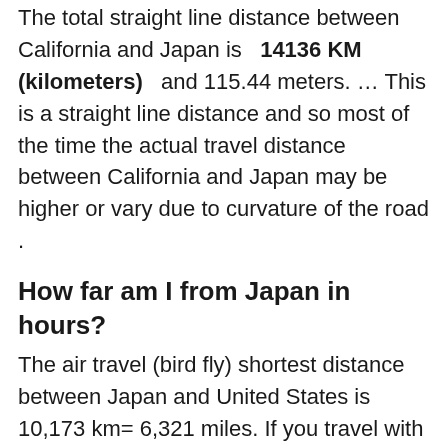The total straight line distance between California and Japan is 14136 KM (kilometers) and 115.44 meters. … This is a straight line distance and so most of the time the actual travel distance between California and Japan may be higher or vary due to curvature of the road .
How far am I from Japan in hours?
The air travel (bird fly) shortest distance between Japan and United States is 10,173 km= 6,321 miles. If you travel with an airplane (which has average speed of 560 miles) from Japan to United States, It takes 11.29 hours to arrive.
What is the closest US city to Hawaii?
The closest major city is San Francisco, California at 2,300 miles (3,701 km). However, islands off the Mexican coast and part of the Aleutian Islands of Alaska are slightly closer to Honolulu than the